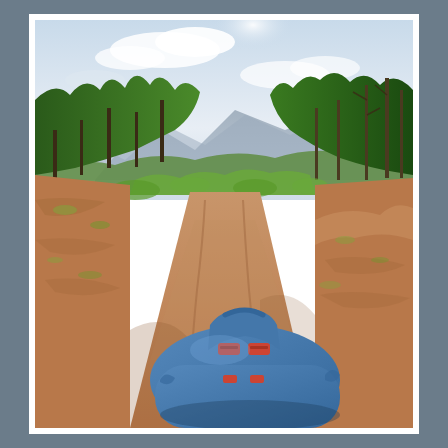[Figure (photo): Outdoor photograph taken from behind a blue backpack or dry bag with red straps, looking down a wide dirt track or firebreak trail. The reddish-orange sandy track leads straight ahead into the distance through eucalyptus forest and scrubland. On both sides, green trees and bushes line the path. In the background, blue-grey mountains are visible under a partly cloudy sky. The blue pack occupies the lower right foreground, suggesting the photo was taken by someone carrying or sitting on the bag, possibly on a bicycle or vehicle.]